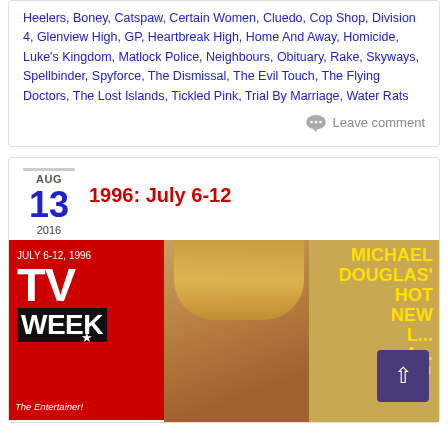Heelers, Boney, Catspaw, Certain Women, Cluedo, Cop Shop, Division 4, Glenview High, GP, Heartbreak High, Home And Away, Homicide, Luke's Kingdom, Matlock Police, Neighbours, Obituary, Rake, Skyways, Spellbinder, Spyforce, The Dismissal, The Evil Touch, The Flying Doctors, The Lost Islands, Tickled Pink, Trial By Marriage, Water Rats
Leave comment
1996: July 6-12
AUG
13
2016
[Figure (photo): TV Week magazine cover showing the TV Week logo on a red background on the left, a woman with blonde hair in the center, and text reading 'MICHAEL DOUGLAS' HOT NEW L... A... WITH' in yellow on a tan/golden background on the right. A purple scroll-to-top button with an upward arrow is overlaid in the bottom right.]